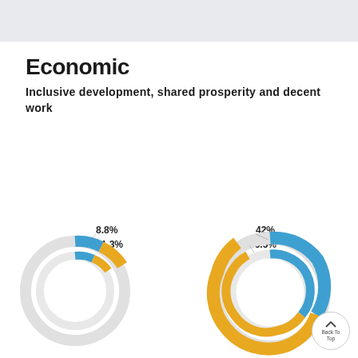Economic
Inclusive development, shared prosperity and decent work
[Figure (donut-chart): Left donut chart]
[Figure (donut-chart): Right donut chart]